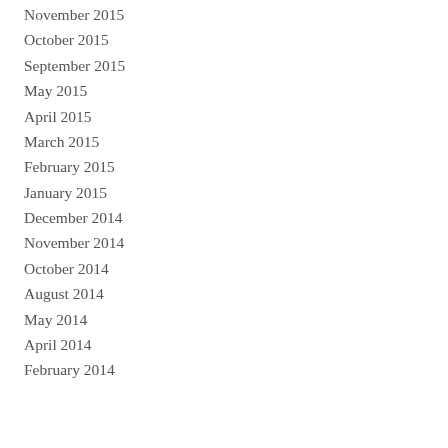November 2015
October 2015
September 2015
May 2015
April 2015
March 2015
February 2015
January 2015
December 2014
November 2014
October 2014
August 2014
May 2014
April 2014
February 2014